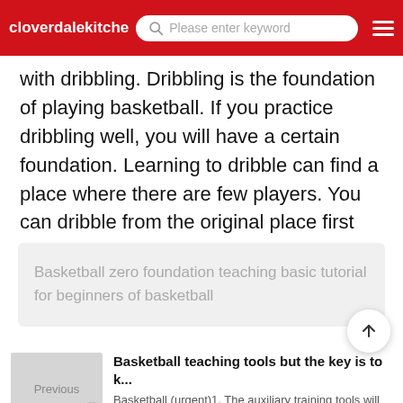cloverdalekitche... | Please enter keyword
with dribbling. Dribbling is the foundation of playing basketball. If you practice dribbling well, you will have a certain foundation. Learning to dribble can find a place where there are few players. You can dribble from the original place first
Basketball zero foundation teaching basic tutorial for beginners of basketball
Basketball teaching tools but the key is to k...
Basketball (urgent)1. The auxiliary training tools will play a certain role, but the key is that you should...
Chinese Basketball Teaching take a baske...
How to train basketball beginnersThe methods for beginners to train basketball are as follows: Step 1